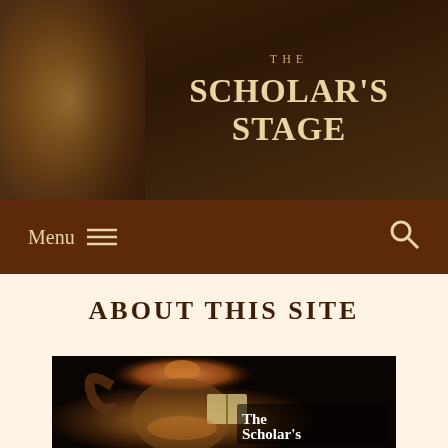THE SCHOLAR'S STAGE
Menu
ABOUT THIS SITE
[Figure (photo): A bronze/metal monkey statue wearing a crown, holding an open book, with 'The Scholar's Stage' text overlaid in the bottom right.]